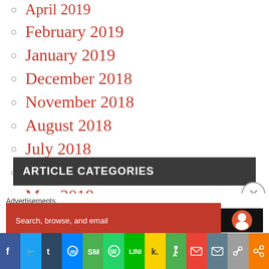April 2019
February 2019
January 2019
December 2018
November 2018
August 2018
July 2018
June 2018
May 2018
April 2018
ARTICLE CATEGORIES
1st Amendment (20)
2nd Amendment (22)
Action (21)
Advertisements
Search, browse, and email